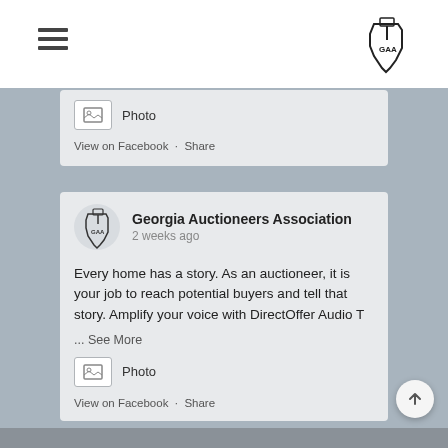[Figure (logo): Georgia Auctioneers Association logo in top right of navigation bar]
[Figure (screenshot): Partial Facebook post card showing Photo attachment and View on Facebook / Share links]
[Figure (logo): Georgia Auctioneers Association avatar/logo in post header]
Georgia Auctioneers Association
2 weeks ago
Every home has a story. As an auctioneer, it is your job to reach potential buyers and tell that story. Amplify your voice with DirectOffer Audio T
... See More
Photo
View on Facebook · Share